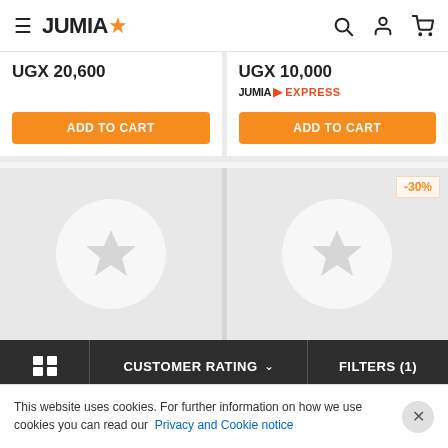JUMIA
UGX 20,600
UGX 10,000
JUMIA EXPRESS
ADD TO CART
ADD TO CART
[Figure (other): Product placeholder image with star icon, left cell]
[Figure (other): Product placeholder image with star icon and -30% discount badge, right cell]
CUSTOMER RATING
FILTERS (1)
This website uses cookies. For further information on how we use cookies you can read our Privacy and Cookie notice